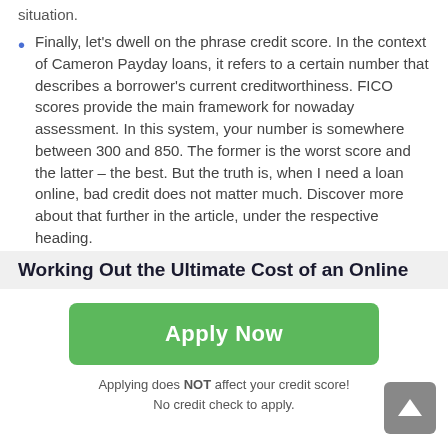situation.
Finally, let's dwell on the phrase credit score. In the context of Cameron Payday loans, it refers to a certain number that describes a borrower's current creditworthiness. FICO scores provide the main framework for nowaday assessment. In this system, your number is somewhere between 300 and 850. The former is the worst score and the latter – the best. But the truth is, when I need a loan online, bad credit does not matter much. Discover more about that further in the article, under the respective heading.
Working Out the Ultimate Cost of an Online
Apply Now
Applying does NOT affect your credit score!
No credit check to apply.